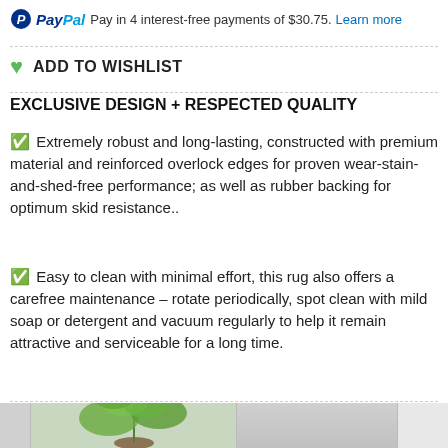PayPal Pay in 4 interest-free payments of $30.75. Learn more
ADD TO WISHLIST
EXCLUSIVE DESIGN + RESPECTED QUALITY
✅ Extremely robust and long-lasting, constructed with premium material and reinforced overlock edges for proven wear-stain-and-shed-free performance; as well as rubber backing for optimum skid resistance..
✅ Easy to clean with minimal effort, this rug also offers a carefree maintenance – rotate periodically, spot clean with mild soap or detergent and vacuum regularly to help it remain attractive and serviceable for a long time.
[Figure (photo): Bottom strip showing partial product images: a green leafy plant in center, grey fabric/rug on right side]